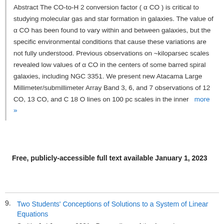Abstract The CO-to-H 2 conversion factor ( α CO ) is critical to studying molecular gas and star formation in galaxies. The value of α CO has been found to vary within and between galaxies, but the specific environmental conditions that cause these variations are not fully understood. Previous observations on ~kiloparsec scales revealed low values of α CO in the centers of some barred spiral galaxies, including NGC 3351. We present new Atacama Large Millimeter/submillimeter Array Band 3, 6, and 7 observations of 12 CO, 13 CO, and C 18 O lines on 100 pc scales in the inner more »
Free, publicly-accessible full text available January 1, 2023
9. Two Students' Conceptions of Solutions to a System of Linear Equations — Smith, J. ( January 2021 , Proceedings of the Annual Conference ...